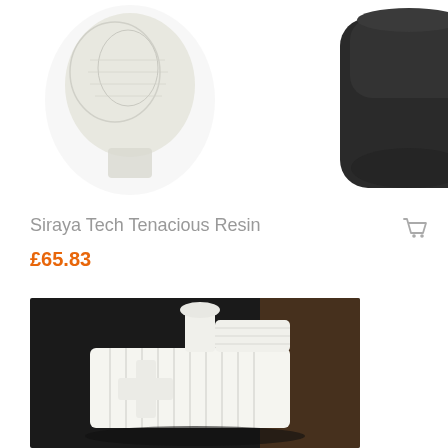[Figure (photo): Product photo showing a white 3D printed skull/figure object and a dark cylindrical bottle of Siraya Tech Tenacious Resin on white background]
Siraya Tech Tenacious Resin
£65.83
[Figure (photo): Close-up photo of a white 3D printed model of a locomotive/train engine on a dark background]